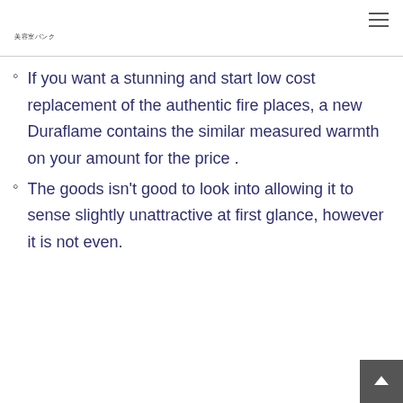美容室バンク
If you want a stunning and start low cost replacement of the authentic fire places, a new Duraflame contains the similar measured warmth on your amount for the price .
The goods isn't good to look into allowing it to sense slightly unattractive at first glance, however it is not even.